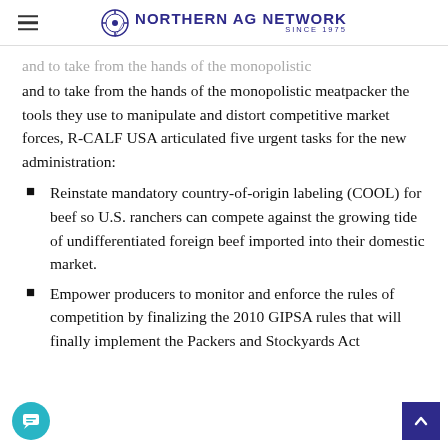Northern Ag Network — Since 1975
and to take from the hands of the monopolistic meatpacker the tools they use to manipulate and distort competitive market forces, R-CALF USA articulated five urgent tasks for the new administration:
Reinstate mandatory country-of-origin labeling (COOL) for beef so U.S. ranchers can compete against the growing tide of undifferentiated foreign beef imported into their domestic market.
Empower producers to monitor and enforce the rules of competition by finalizing the 2010 GIPSA rules that will finally implement the Packers and Stockyards Act